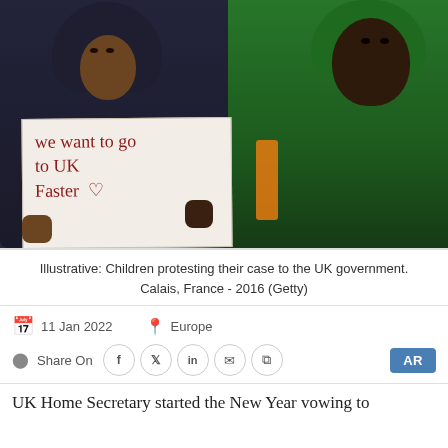[Figure (photo): Two children wearing hooded jackets (one dark navy, one bright green) holding a handwritten sign reading 'we want to go to UK Faster' with a heart drawn on it. Photo taken at Calais, France in 2016.]
Illustrative: Children protesting their case to the UK government. Calais, France - 2016 (Getty)
11 Jan 2022   Europe
Share On
UK Home Secretary started the New Year vowing to